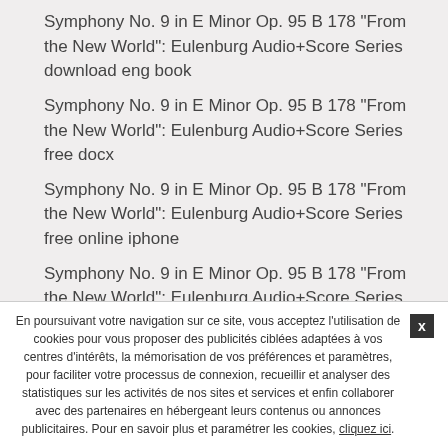Symphony No. 9 in E Minor Op. 95 B 178 "From the New World": Eulenburg Audio+Score Series download eng book
Symphony No. 9 in E Minor Op. 95 B 178 "From the New World": Eulenburg Audio+Score Series free docx
Symphony No. 9 in E Minor Op. 95 B 178 "From the New World": Eulenburg Audio+Score Series free online iphone
Symphony No. 9 in E Minor Op. 95 B 178 "From the New World": Eulenburg Audio+Score Series phone wiki free eReader book
Symphony No. 9 in E Minor Op. 95 B 178 "From the New World": Eulenburg Audio+Score Series fb2 online find book chapter
En poursuivant votre navigation sur ce site, vous acceptez l'utilisation de cookies pour vous proposer des publicités ciblées adaptées à vos centres d'intérêts, la mémorisation de vos préférences et paramètres, pour faciliter votre processus de connexion, recueillir et analyser des statistiques sur les activités de nos sites et services et enfin collaborer avec des partenaires en hébergeant leurs contenus ou annonces publicitaires. Pour en savoir plus et paramétrer les cookies, cliquez ici.